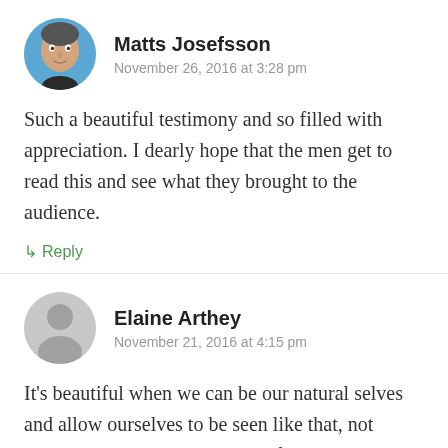[Figure (photo): Circular avatar photo of Matts Josefsson, a man with short hair against a blue background]
Matts Josefsson
November 26, 2016 at 3:28 pm
Such a beautiful testimony and so filled with appreciation. I dearly hope that the men get to read this and see what they brought to the audience.
↳ Reply
[Figure (illustration): Generic gray avatar silhouette for Elaine Arthey]
Elaine Arthey
November 21, 2016 at 4:15 pm
It's beautiful when we can be our natural selves and allow ourselves to be seen like that, not changing ourselves in any way for those we know might be watching. To be on a stage and